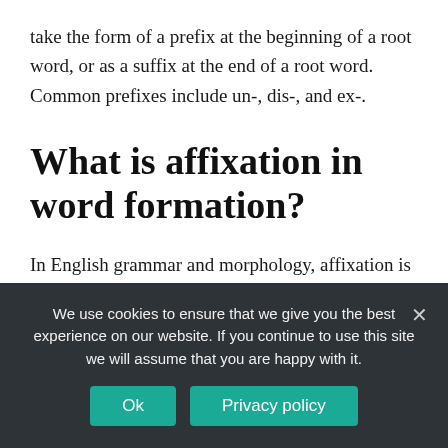take the form of a prefix at the beginning of a root word, or as a suffix at the end of a root word. Common prefixes include un-, dis-, and ex-.
What is affixation in word formation?
In English grammar and morphology, affixation is the process of adding a morpheme—or affix—to a
We use cookies to ensure that we give you the best experience on our website. If you continue to use this site we will assume that you are happy with it.